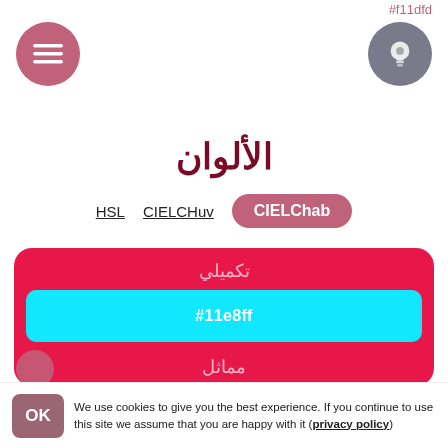#f11dfd
الألوان
HSL   CIELCHuv   CIELChab
تكميلي
#11e8ff
مماثل
#df3194
#f1681f
تقسيم
We use cookies to give you the best experience. If you continue to use this site we assume that you are happy with it (privacy policy)